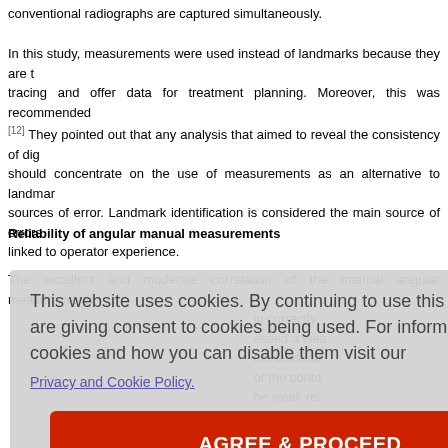conventional radiographs are captured simultaneously.
In this study, measurements were used instead of landmarks because they are tracing and offer data for treatment planning. Moreover, this was recommended [12] They pointed out that any analysis that aimed to reveal the consistency of dig should concentrate on the use of measurements as an alternative to landmark sources of error. Landmark identification is considered the main source of errors linked to operator experience.
Reliability of angular manual measurements
The excellent and moderate correlation of the manual angular measurements in correctly essed a wea me landmar of the conto he weak rel lack of kno e to its wea oth horizontal epends on complexities, which are also associated with the reliability of landmarks." In add